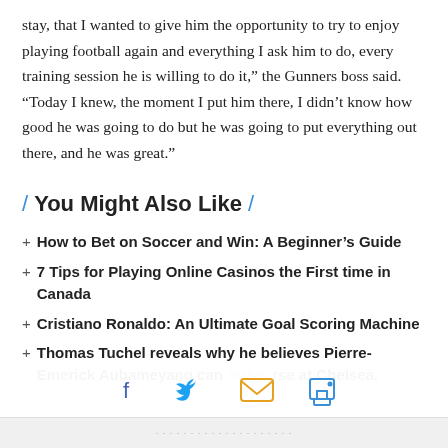stay, that I wanted to give him the opportunity to try to enjoy playing football again and everything I ask him to do, every training session he is willing to do it,” the Gunners boss said. “Today I knew, the moment I put him there, I didn’t know how good he was going to do but he was going to put everything out there, and he was great.”
You Might Also Like
How to Bet on Soccer and Win: A Beginner’s Guide
7 Tips for Playing Online Casinos the First time in Canada
Cristiano Ronaldo: An Ultimate Goal Scoring Machine
Thomas Tuchel reveals why he believes Pierre-Emerick Aubameyang can thrive at Chelsea.
[Figure (infographic): Social share bar with Facebook, Twitter, email, and print icons]